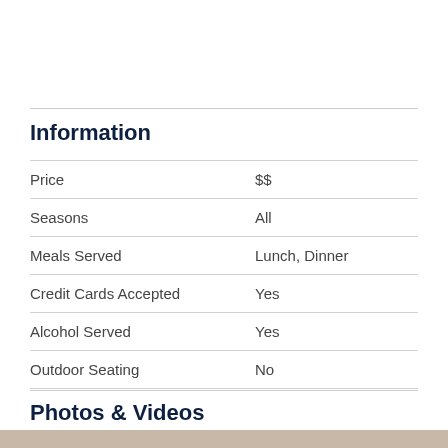Information
|  |  |
| --- | --- |
| Price | $$ |
| Seasons | All |
| Meals Served | Lunch, Dinner |
| Credit Cards Accepted | Yes |
| Alcohol Served | Yes |
| Outdoor Seating | No |
Photos & Videos
[Figure (photo): Partial bottom photo strip visible at bottom of page]